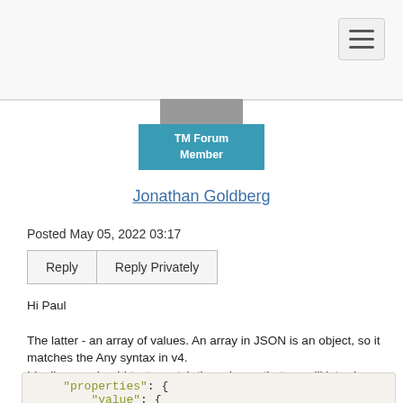[Figure (screenshot): Navigation bar with hamburger menu icon in top right]
[Figure (illustration): TM Forum Member badge in teal/blue]
Jonathan Goldberg
Posted May 05, 2022 03:17
Reply   Reply Privately
Hi Paul

The latter - an array of values. An array in JSON is an object, so it matches the Any syntax in v4.
Ideally, you should try to match the schema that we will introduce in v5, for instance in your example of an integer array the schema for value will (tentatively) look similar to this:
"properties": {
    "value": {